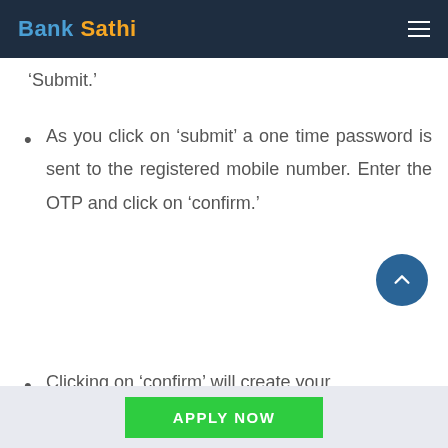Bank Sathi
‘Submit.’
As you click on ‘submit’ a one time password is sent to the registered mobile number. Enter the OTP and click on ‘confirm.’
Clicking on ‘confirm’ will create your
APPLY NOW